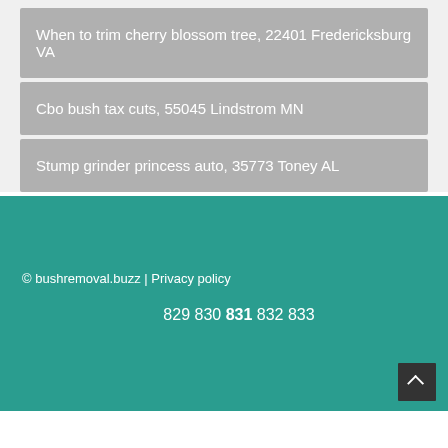When to trim cherry blossom tree, 22401 Fredericksburg VA
Cbo bush tax cuts, 55045 Lindstrom MN
Stump grinder princess auto, 35773 Toney AL
© bushremoval.buzz | Privacy policy
829 830 831 832 833